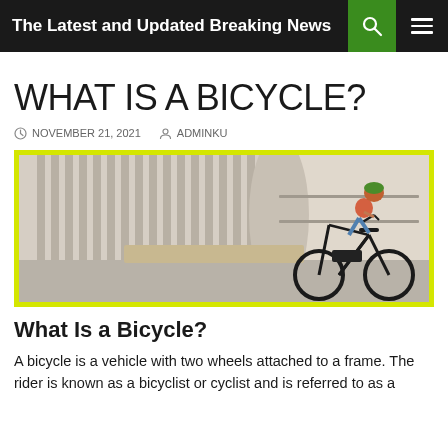The Latest and Updated Breaking News
WHAT IS A BICYCLE?
NOVEMBER 21, 2021  ADMINKU
[Figure (photo): A woman wearing a red top and jeans with a helmet rides a black bicycle in front of a modern building with vertical concrete columns. The image has a thick yellow border.]
What Is a Bicycle?
A bicycle is a vehicle with two wheels attached to a frame. The rider is known as a bicyclist or cyclist and is referred to as a